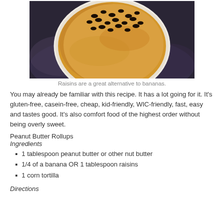[Figure (photo): A corn tortilla topped with peanut butter and raisins, photographed from above on a dark stone/granite surface.]
Raisins are a great alternative to bananas.
You may already be familiar with this recipe. It has a lot going for it. It’s gluten-free, casein-free, cheap, kid-friendly, WIC-friendly, fast, easy and tastes good. It’s also comfort food of the highest order without being overly sweet.
Peanut Butter Rollups
Ingredients
1 tablespoon peanut butter or other nut butter
1/4 of a banana OR 1 tablespoon raisins
1 corn tortilla
Directions